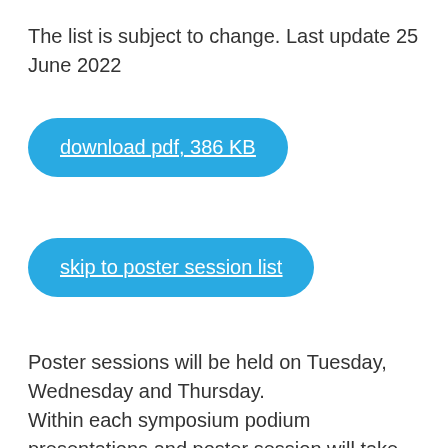The list is subject to change. Last update 25 June 2022
download pdf, 386 KB
skip to poster session list
Poster sessions will be held on Tuesday, Wednesday and Thursday. Within each symposium podium presentations and poster session will take place on the same day.